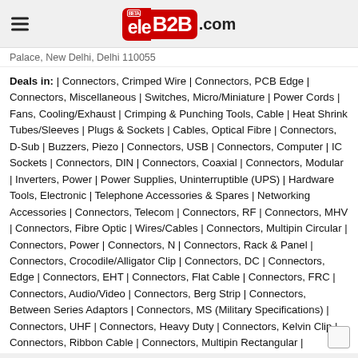eleB2B.com
Palace, New Delhi, Delhi 110055
Deals in: | Connectors, Crimped Wire | Connectors, PCB Edge | Connectors, Miscellaneous | Switches, Micro/Miniature | Power Cords | Fans, Cooling/Exhaust | Crimping & Punching Tools, Cable | Heat Shrink Tubes/Sleeves | Plugs & Sockets | Cables, Optical Fibre | Connectors, D-Sub | Buzzers, Piezo | Connectors, USB | Connectors, Computer | IC Sockets | Connectors, DIN | Connectors, Coaxial | Connectors, Modular | Inverters, Power | Power Supplies, Uninterruptible (UPS) | Hardware Tools, Electronic | Telephone Accessories & Spares | Networking Accessories | Connectors, Telecom | Connectors, RF | Connectors, MHV | Connectors, Fibre Optic | Wires/Cables | Connectors, Multipin Circular | Connectors, Power | Connectors, N | Connectors, Rack & Panel | Connectors, Crocodile/Alligator Clip | Connectors, DC | Connectors, Edge | Connectors, EHT | Connectors, Flat Cable | Connectors, FRC | Connectors, Audio/Video | Connectors, Berg Strip | Connectors, Between Series Adaptors | Connectors, MS (Military Specifications) | Connectors, UHF | Connectors, Heavy Duty | Connectors, Kelvin Clip | Connectors, Ribbon Cable | Connectors, Multipin Rectangular | Connectors, BNC/TNC Etc. | Connectors, Miniature | Connectors, SMA | Connectors, Wire